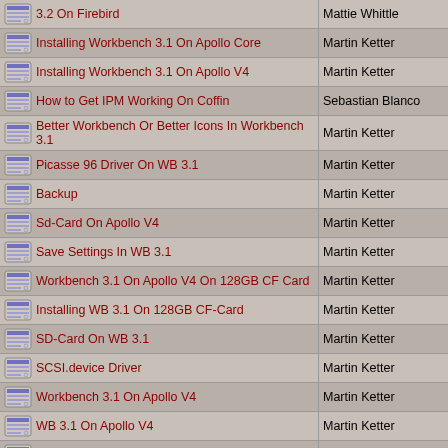| Topic | Author |
| --- | --- |
| 3.2 On Firebird | Mattie Whittle |
| Installing Workbench 3.1 On Apollo Core | Martin Ketter |
| Installing Workbench 3.1 On Apollo V4 | Martin Ketter |
| How to Get IPM Working On Coffin | Sebastian Blanco |
| Better Workbench Or Better Icons In Workbench 3.1 | Martin Ketter |
| Picasse 96 Driver On WB 3.1 | Martin Ketter |
| Backup | Martin Ketter |
| Sd-Card On Apollo V4 | Martin Ketter |
| Save Settings In WB 3.1 | Martin Ketter |
| Workbench 3.1 On Apollo V4 On 128GB CF Card | Martin Ketter |
| Installing WB 3.1 On 128GB CF-Card | Martin Ketter |
| SD-Card On WB 3.1 | Martin Ketter |
| SCSI.device Driver | Martin Ketter |
| Workbench 3.1 On Apollo V4 | Martin Ketter |
| WB 3.1 On Apollo V4 | Martin Ketter |
| Installing WB 3.1 On 128GB CF-Card | Martin Ketter |
| Installing Workbench 3.1 | Martin Ketter |
196 Topics  / 1982 Messages   page